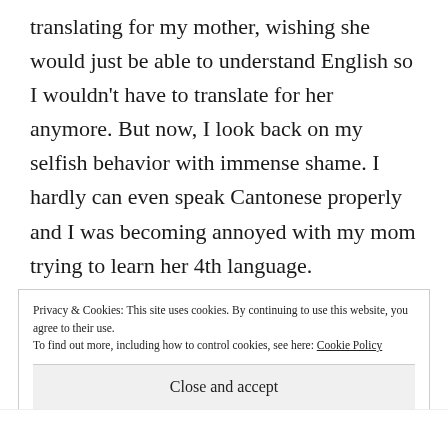translating for my mother, wishing she would just be able to understand English so I wouldn't have to translate for her anymore. But now, I look back on my selfish behavior with immense shame. I hardly can even speak Cantonese properly and I was becoming annoyed with my mom trying to learn her 4th language.
Thankfully, I've learned to appreciate my mother and her broken English. I used to
Privacy & Cookies: This site uses cookies. By continuing to use this website, you agree to their use.
To find out more, including how to control cookies, see here: Cookie Policy
Close and accept